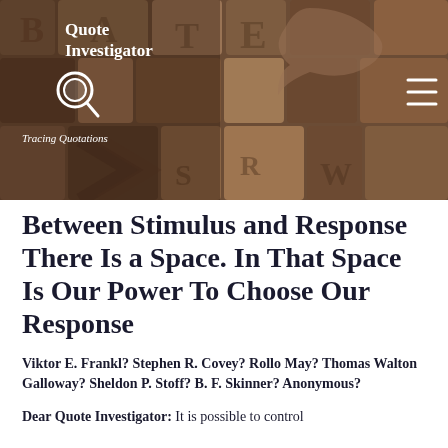[Figure (photo): Header banner image showing wooden letterpress type blocks in various shapes and colors, with 'Quote Investigator' logo, magnifying glass icon, and 'Tracing Quotations' tagline overlaid on the left, and a hamburger menu icon on the right.]
Between Stimulus and Response There Is a Space. In That Space Is Our Power To Choose Our Response
Viktor E. Frankl? Stephen R. Covey? Rollo May? Thomas Walton Galloway? Sheldon P. Stoff? B. F. Skinner? Anonymous?
Dear Quote Investigator: It is possible to control